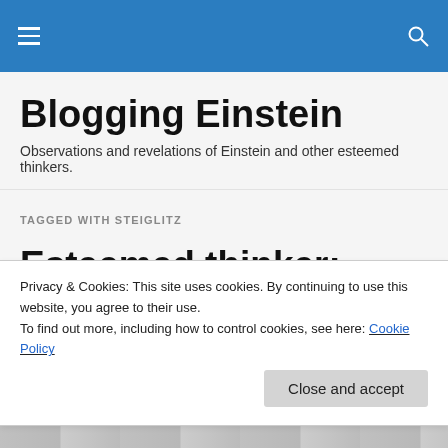≡  🔍
Blogging Einstein
Observations and revelations of Einstein and other esteemed thinkers.
TAGGED WITH STEIGLITZ
Esteemed thinker: Alfred Steiglitz
Privacy & Cookies: This site uses cookies. By continuing to use this website, you agree to their use.
To find out more, including how to control cookies, see here: Cookie Policy
Close and accept